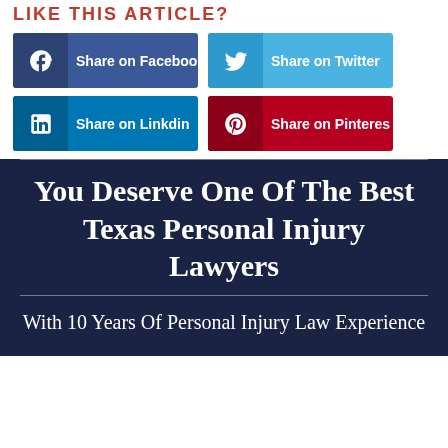[Figure (infographic): Social share buttons: Share on Facebook, Share on Twitter, Share on LinkedIn, Share on Pinterest]
You Deserve One Of The Best Texas Personal Injury Lawyers
With 10 Years Of Personal Injury Law Experience